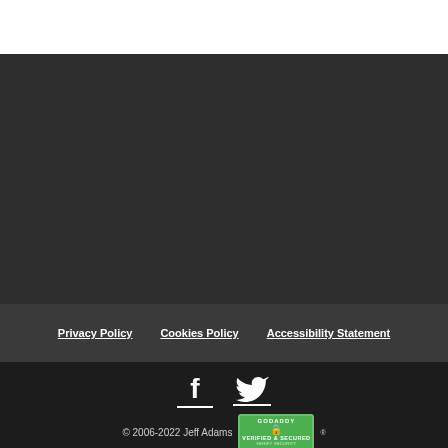Privacy Policy   Cookies Policy   Accessibility Statement
© 2006-2022 Jeff Adams
[Figure (logo): GoDaddy Verified & Secured badge]
[Figure (illustration): Facebook and Twitter social media icons with underline]
[Figure (other): Registered trademark symbol next to GoDaddy badge]